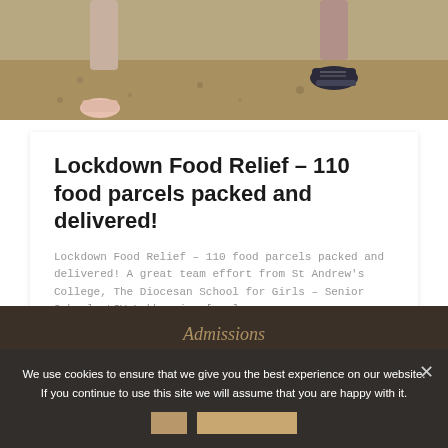[Figure (photo): Top portion of photo showing ground/gravel and person's legs wearing dark sneakers]
Lockdown Food Relief – 110 food parcels packed and delivered!
Lockdown Food Relief – 110 food parcels packed and delivered! A great team effort from St Andrew's College, The Diocesan School for Girls – Senior School, LIV Lukhanyiso [...]
0
Read more
We use cookies to ensure that we give you the best experience on our website. If you continue to use this site we will assume that you are happy with it.